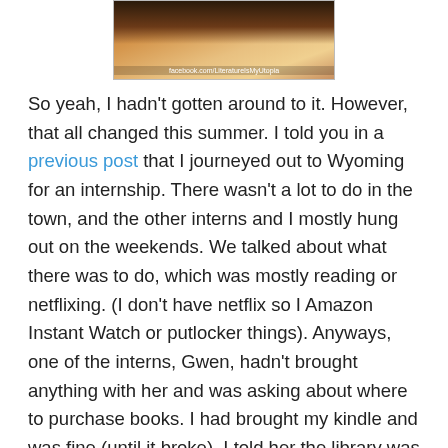[Figure (photo): Top partial image with warm brown/orange tones and text overlay reading 'facebook.com/LiteratureIsMyUtopia']
So yeah, I hadn't gotten around to it. However, that all changed this summer. I told you in a previous post that I journeyed out to Wyoming for an internship. There wasn't a lot to do in the town, and the other interns and I mostly hung out on the weekends. We talked about what there was to do, which was mostly reading or netflixing. (I don't have netflix so I Amazon Instant Watch or putlocker things). Anyways, one of the interns, Gwen, hadn't brought anything with her and was asking about where to purchase books. I had brought my kindle and was fine (until it broke). I told her the library was out as I had found out to get a card I would have to pay $20.
[Figure (photo): Bottom partial image with red and yellow background, partial view of illustrated character]